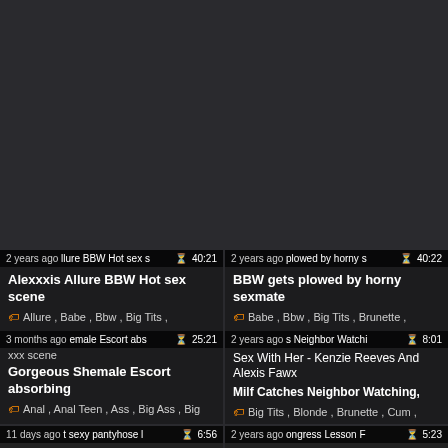[Figure (screenshot): Dark background top portion of video thumbnail grid page]
2 years ago | Allure BBW Hot sex s | 40:21
Alexxxis Allure BBW Hot sex scene
Allure , Babe , Bbw , Big Tits ,
2 years ago | plowed by horny s | 40:22
BBW gets plowed by horny sexmate
Babe , Bbw , Big Tits , Brunette ,
3 months ago | male Escort abs | 25:21
xxx scene
Gorgeous Shemale Escort absorbing
Anal , Anal Teen , Ass , Big Ass , Big
2 years ago | s Neighbor Watching | 8:01
Sex With Her - Kenzie Reeves And Alexis Fawx
Milf Catches Neighbor Watching,
Big Tits , Blonde , Brunette , Cum ,
11 days ago | t sexy pantyhose l | 6:56
stepson finger fuck and hammer their way
2 years ago | ongress Lesson F | 5:23
Year-Old Gilf - Mandy Thai With an